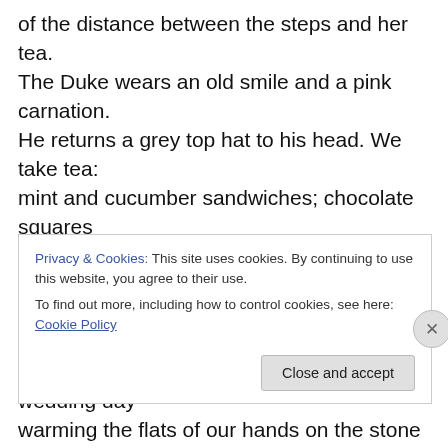of the distance between the steps and her tea. The Duke wears an old smile and a pink carnation. He returns a grey top hat to his head. We take tea: mint and cucumber sandwiches; chocolate squares with a coat of arms on a chocolate button. A teacher wraps hers to show the schoolchildren the next day. We stand on the steps, as if at the end of a wedding day warming the flats of our hands on the stone wall. To my left, Edward VIII, looks out at the garden, a silver shadow of himself, as if he has stepped from a news reel, thinking of everything he must
Privacy & Cookies: This site uses cookies. By continuing to use this website, you agree to their use.
To find out more, including how to control cookies, see here: Cookie Policy
Close and accept